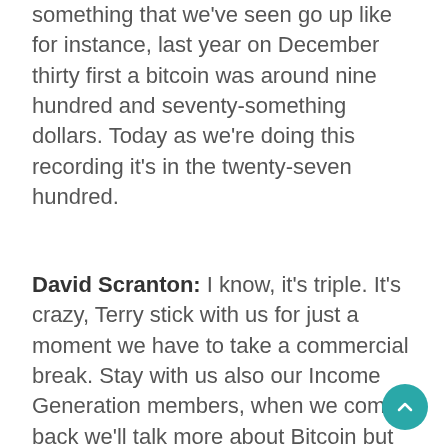something that we've seen go up like for instance, last year on December thirty first a bitcoin was around nine hundred and seventy-something dollars. Today as we're doing this recording it's in the twenty-seven hundred.
David Scranton: I know, it's triple. It's crazy, Terry stick with us for just a moment we have to take a commercial break. Stay with us also our Income Generation members, when we come back we'll talk more about Bitcoin but also different types of financial elements much like that. So stay with us, we'll be right back. If you're not using someone who is well trained in fixed income and you're born before nineteen sixty-six. It may just be time for you to break up with that advisor and move on. I would suggest someone who will care for you through these important years of your life. If you need help finding